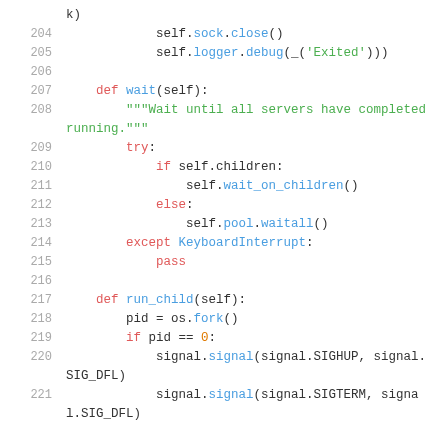[Figure (screenshot): Python source code snippet showing lines 204-221, with syntax highlighting. Lines include self.sock.close(), self.logger.debug(), def wait(self), try/if/else/except blocks, def run_child(self), os.fork(), and signal.signal calls.]